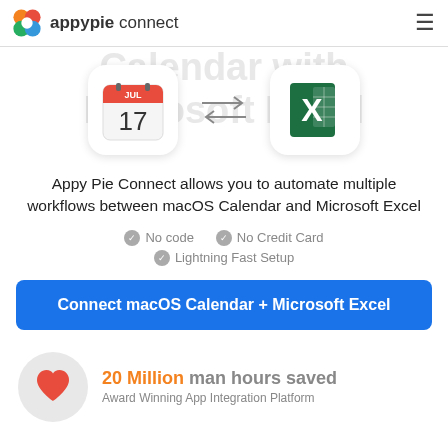appypie connect
Integrate macOS Calendar with Microsoft Excel
[Figure (illustration): macOS Calendar app icon (calendar showing JUL 17) and Microsoft Excel app icon (green X), connected by bidirectional arrows]
Appy Pie Connect allows you to automate multiple workflows between macOS Calendar and Microsoft Excel
No code
No Credit Card
Lightning Fast Setup
Connect macOS Calendar + Microsoft Excel
20 Million man hours saved
Award Winning App Integration Platform